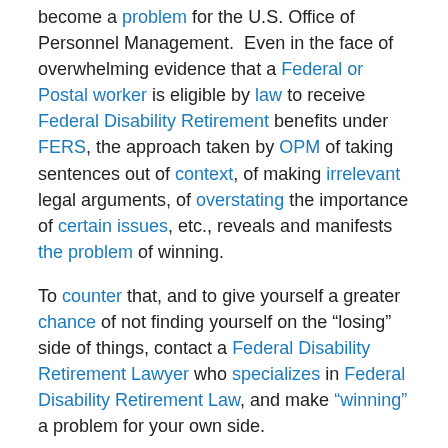become a problem for the U.S. Office of Personnel Management.  Even in the face of overwhelming evidence that a Federal or Postal worker is eligible by law to receive Federal Disability Retirement benefits under FERS, the approach taken by OPM of taking sentences out of context, of making irrelevant legal arguments, of overstating the importance of certain issues, etc., reveals and manifests the problem of winning.
To counter that, and to give yourself a greater chance of not finding yourself on the “losing” side of things, contact a Federal Disability Retirement Lawyer who specializes in Federal Disability Retirement Law, and make “winning” a problem for your own side.
Sincerely,
Robert R. McGill, Lawyer